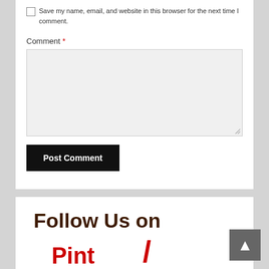Save my name, email, and website in this browser for the next time I comment.
Comment *
Post Comment
[Figure (illustration): Follow Us on Pinterest banner with handwritten-style text in dark brown and red, partially cropped at bottom. A scroll-to-top button (grey square with white arrow) appears at bottom right.]